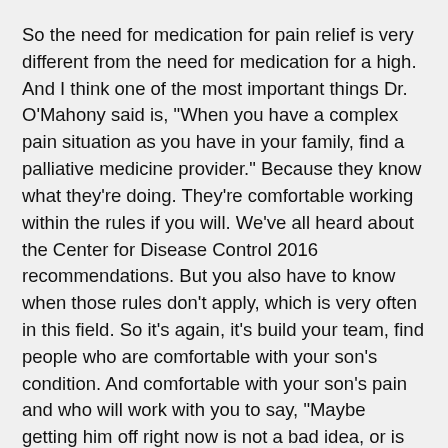So the need for medication for pain relief is very different from the need for medication for a high. And I think one of the most important things Dr. O'Mahony said is, "When you have a complex pain situation as you have in your family, find a palliative medicine provider." Because they know what they're doing. They're comfortable working within the rules if you will. We've all heard about the Center for Disease Control 2016 recommendations. But you also have to know when those rules don't apply, which is very often in this field. So it's again, it's build your team, find people who are comfortable with your son's condition. And comfortable with your son's pain and who will work with you to say, "Maybe getting him off right now is not a bad idea, or is not a good idea."
Methadone is very good and very helpful, but again, you have to know, you almost can't tell people who's